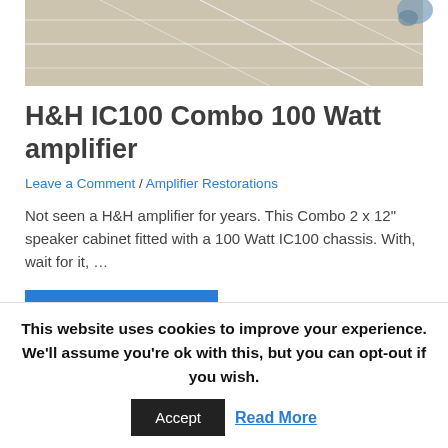[Figure (photo): Top portion of a photo showing beige/cream floor tiles with diagonal grout lines, partial view of an object in upper right corner.]
H&H IC100 Combo 100 Watt amplifier
Leave a Comment / Amplifier Restorations
Not seen a H&H amplifier for years. This Combo 2 x 12" speaker cabinet fitted with a 100 Watt IC100 chassis. With, wait for it, …
Read More »
This website uses cookies to improve your experience. We'll assume you're ok with this, but you can opt-out if you wish.
Accept  Read More